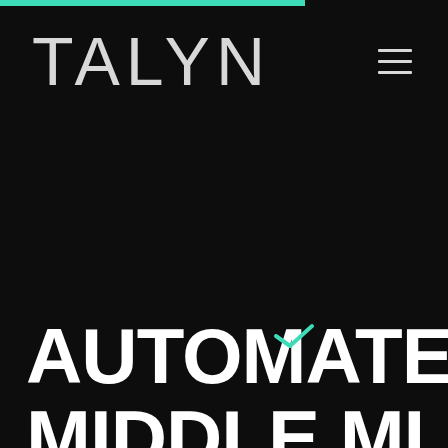[Figure (logo): TALYN company logo in light gray text on black background, with a teal/green accent bar at the top left]
AUTOMATE THE MIDDLE MIL